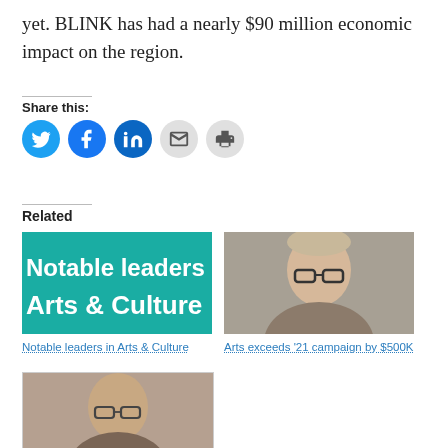yet. BLINK has had a nearly $90 million economic impact on the region.
Share this:
[Figure (other): Social share icons: Twitter, Facebook, LinkedIn, Email, Print]
Related
[Figure (illustration): Teal banner image reading 'Notable leaders in Arts & Culture']
Notable leaders in Arts & Culture
[Figure (photo): Headshot of a smiling middle-aged man with glasses and gray hair]
Arts exceeds '21 campaign by $500K
[Figure (photo): Partial headshot of a man with glasses and brown hair, cropped at bottom of page]